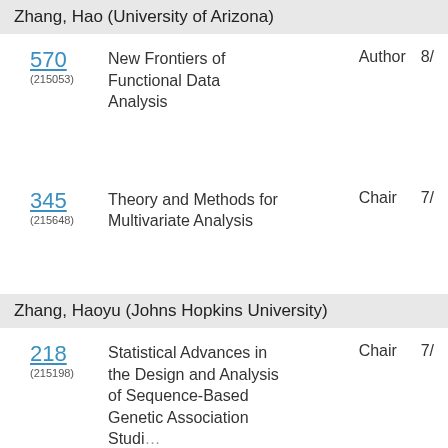Zhang, Hao (University of Arizona)
570 (215053) New Frontiers of Functional Data Analysis — Author — 8/
345 (215648) Theory and Methods for Multivariate Analysis — Chair — 7/
Zhang, Haoyu (Johns Hopkins University)
218 (215198) Statistical Advances in the Design and Analysis of Sequence-Based Genetic Association Studies — Chair — 7/